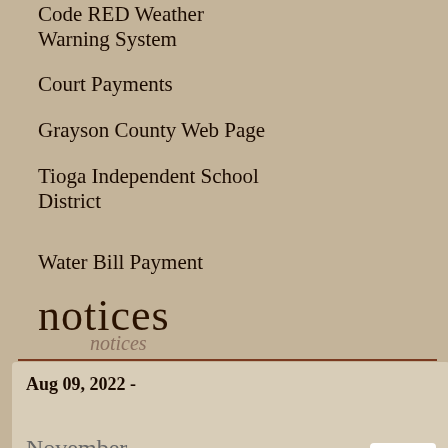Code RED Weather Warning System
Court Payments
Grayson County Web Page
Tioga Independent School District
Water Bill Payment
notices
Aug 09, 2022 -
November 24, 2016
all-day
The City Council of the City of Tioga will hold...
[Figure (photo): Wooden planks background photo]
Comments are closed.